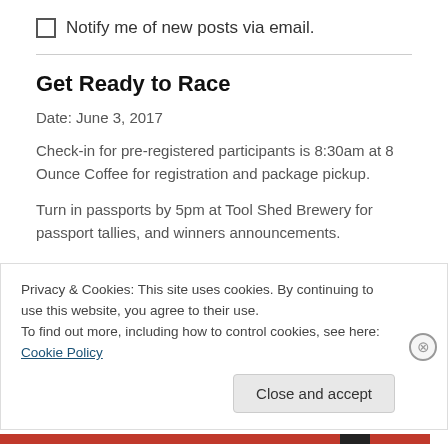Notify me of new posts via email.
Get Ready to Race
Date: June 3, 2017
Check-in for pre-registered participants is 8:30am at 8 Ounce Coffee for registration and package pickup.
Turn in passports by 5pm at Tool Shed Brewery for passport tallies, and winners announcements.
Advance registration only (we will not sell tickets at the door):
Privacy & Cookies: This site uses cookies. By continuing to use this website, you agree to their use. To find out more, including how to control cookies, see here: Cookie Policy
Close and accept